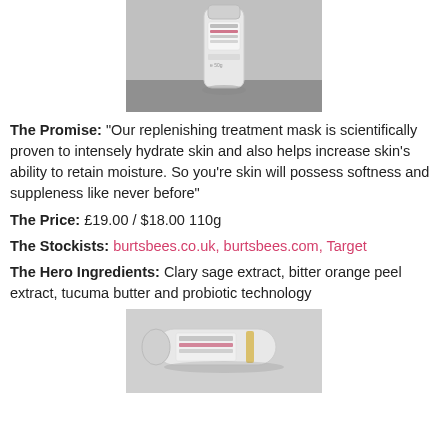[Figure (photo): White tube of Burt's Bees replenishing treatment mask on a grey surface, viewed from front]
The Promise: "Our replenishing treatment mask is scientifically proven to intensely hydrate skin and also helps increase skin's ability to retain moisture. So you're skin will possess softness and suppleness like never before"
The Price: £19.00 / $18.00 110g
The Stockists: burtsbees.co.uk, burtsbees.com, Target
The Hero Ingredients: Clary sage extract, bitter orange peel extract, tucuma butter and probiotic technology
[Figure (photo): White tube of Burt's Bees product laid flat, viewed from a different angle on grey surface]